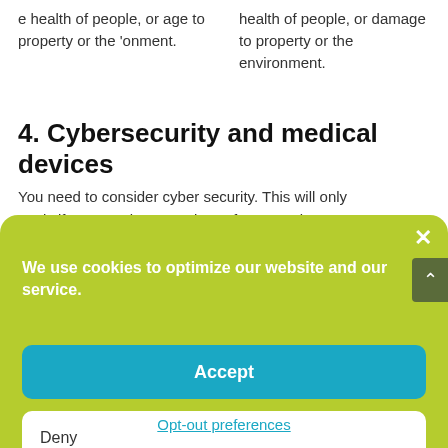e health of people, or age to property or the 'onment.
health of people, or damage to property or the environment.
4. Cybersecurity and medical devices
You need to consider cyber security. This will only apply if your product contains software, or is a
[Figure (screenshot): Cookie consent banner overlay with green background. Contains bold white text 'We use cookies to optimize our website and our service.', a blue Accept button, a white Deny button, an 'Opt-out preferences' teal link, and a white X close button in the top right.]